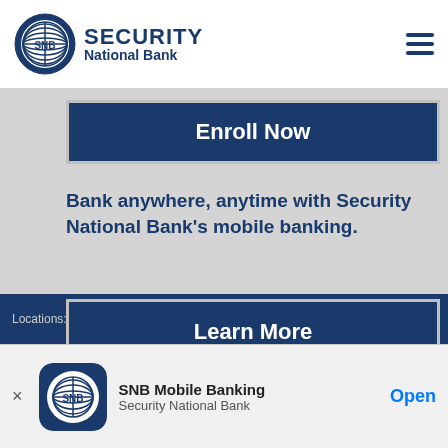[Figure (logo): Security National Bank logo with circular globe icon and text 'SECURITY National Bank']
Enroll Now
Bank anywhere, anytime with Security National Bank's mobile banking.
Learn More
Locations: 201 West Broadway · 201 West Maine · 210
SNB Mobile Banking
Security National Bank
Open